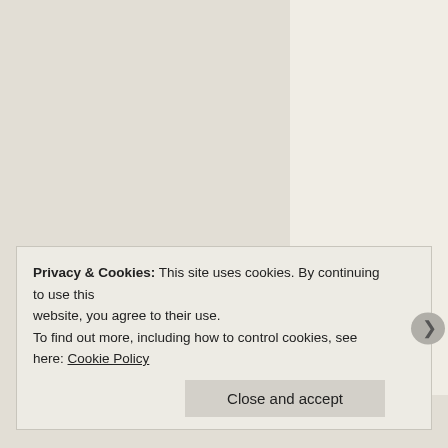The Platform Where Word Works Best
As would be supposed, she holds that not only do necessary that they do so. All of the writers I hea readily agree. Despite this, the apolitical writer is she also mentions a speech E.M. Forster gave in even at a time when evil was spreading across t
Privacy & Cookies: This site uses cookies. By continuing to use this website, you agree to their use.
To find out more, including how to control cookies, see here: Cookie Policy